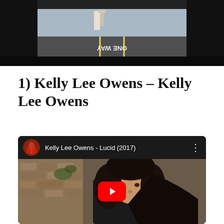[Figure (photo): Road tunnel scene showing a one-way road marking on pavement, viewed from inside a dark tunnel looking out toward a bright overpass or seafront structure]
1) Kelly Lee Owens – Kelly Lee Owens
[Figure (screenshot): Embedded YouTube video player showing 'Kelly Lee Owens - Lucid (2017)' with a YouTube channel avatar (person in red jacket), channel title, three-dot menu, and thumbnail of a dark-haired woman in a black jacket near a brick wall, with a red YouTube play button overlay]